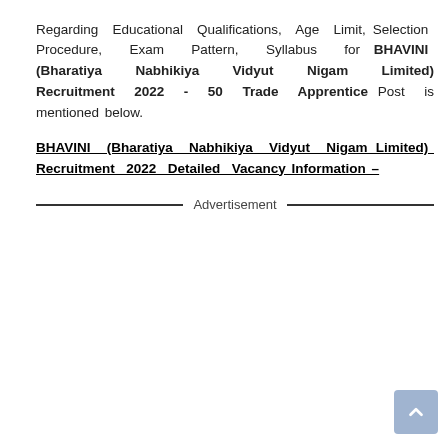Regarding Educational Qualifications, Age Limit, Selection Procedure, Exam Pattern, Syllabus for BHAVINI (Bharatiya Nabhikiya Vidyut Nigam Limited) Recruitment 2022 - 50 Trade Apprentice Post is mentioned below.
BHAVINI (Bharatiya Nabhikiya Vidyut Nigam Limited) Recruitment 2022 Detailed Vacancy Information -
Advertisement